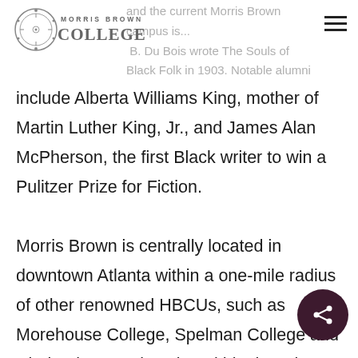MORRIS BROWN COLLEGE
and the current Morris Brown campus is...W.E.B. Du Bois wrote The Souls of Black Folk in 1903. Notable alumni
include Alberta Williams King, mother of Martin Luther King, Jr., and James Alan McPherson, the first Black writer to win a Pulitzer Prize for Fiction.

Morris Brown is centrally located in downtown Atlanta within a one-mile radius of other renowned HBCUs, such as Morehouse College, Spelman College and Clark Atlanta University, within the Atlanta University Center Consortium. The campus sits next to the Mercedes Benz Stadium, home of the